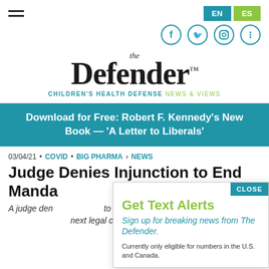The Defender — CHILDREN'S HEALTH DEFENSE NEWS & VIEWS
[Figure (logo): The Defender logo with 'the' in small italic above large serif 'Defender™' text, and tagline 'CHILDREN'S HEALTH DEFENSE NEWS & VIEWS' below in teal and green]
Download for Free: Robert F. Kennedy's New Book — 'A Letter to Liberals'
03/04/21 • COVID • BIG PHARMA › NEWS
Judge Denies Injunction to End Manda[tory Masks in NYC] School[s]
A judge den[ied a request] to end man[datory masks in New York] City school[s and outlined the] next legal [steps].
Get Text Alerts
Sign up for breaking news from The Defender.
Currently only eligible for numbers in the U.S. and Canada.